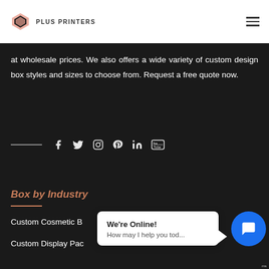PLUS PRINTERS
at wholesale prices. We also offers a wide variety of custom design box styles and sizes to choose from. Request a free quote now.
[Figure (infographic): Social media icons row: Facebook, Twitter, Instagram, Pinterest, LinkedIn, YouTube with a horizontal line to the left]
Box by Industry
Custom Cosmetic B...
Custom Display Pac...
[Figure (screenshot): Live chat widget popup reading 'We're Online! How may I help you tod...' with blue chat icon button]